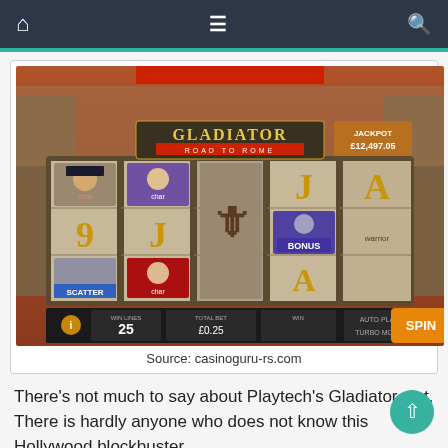Navigation bar with home, menu, and search icons
[Figure (screenshot): Gladiator Road to Rome slot machine game screenshot showing 5 reels with character symbols, J, A, 9 card symbols, SCATTER and BONUS symbols, JACKPOT £12,497.05, WIN LINES 25, TOTAL BET £0.25, AUTO PLAY, TURBO MODE, and SPIN button]
Source: casinoguru-rs.com
There's not much to say about Playtech's Gladiator slot. There is hardly anyone who does not know this Hollywood blockbuster